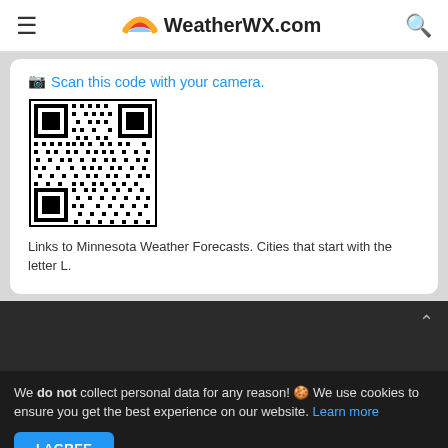WeatherWX.com
[Figure (other): QR code with prompt text 'Scan this code with your camera.']
Links to Minnesota Weather Forecasts. Cities that start with the letter L.
We do not collect personal data for any reason! 🍪 We use cookies to ensure you get the best experience on our website. Learn more
I AGREE